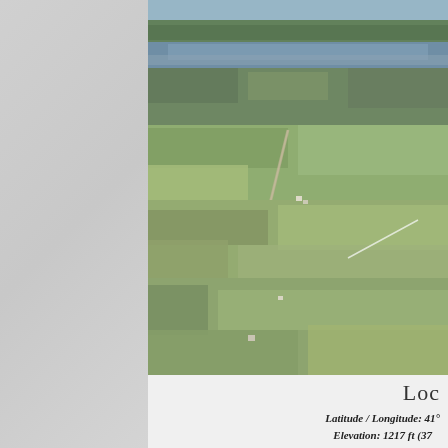[Figure (photo): Aerial photograph looking over rural farmland and forest with a river or lake visible in the background. Fields, patches of woodland, a road, and scattered buildings are visible from altitude.]
Loc
Latitude / Longitude: 41°
Elevation: 1217 ft (37